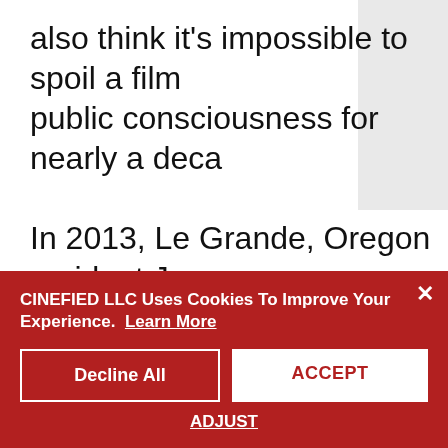also think it's impossible to spoil a film public consciousness for nearly a deca…
In 2013, Le Grande, Oregon resident Ja… bullying at school for being gay. He wa… Bell started Faces for Change, a non-p… of bullying at local high schools, and p… complete in two years. Sadly, Joe was … after starting his college ch…
CINEFIED LLC Uses Cookies To Improve Your Experience.  Learn More
Decline All
ACCEPT
ADJUST